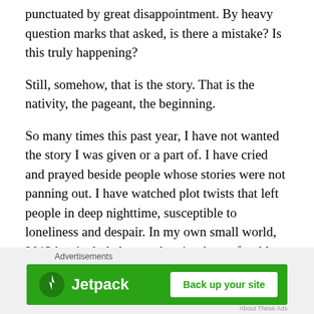punctuated by great disappointment. By heavy question marks that asked, is there a mistake? Is this truly happening?
Still, somehow, that is the story. That is the nativity, the pageant, the beginning.
So many times this past year, I have not wanted the story I was given or a part of. I have cried and prayed beside people whose stories were not panning out. I have watched plot twists that left people in deep nighttime, susceptible to loneliness and despair. In my own small world, 2013 has included more than its share of stables and instability.
[Figure (other): Jetpack advertisement banner with green background, Jetpack logo on left and 'Back up your site' white button on right, with 'Advertisements' label above and a close (X) button.]